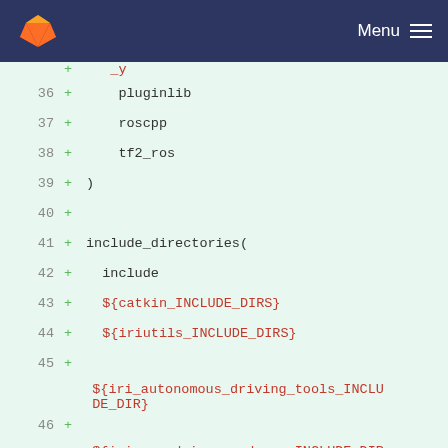GitLab — Menu
[Figure (screenshot): Code diff view showing CMakeLists.txt additions for lines 36-51, displaying pluginlib, roscpp, tf2_ros, include_directories block with catkin and iriutils include dirs, iri_autonomous_driving_tools_INCLUDE_DIR, iri_opendrive_road_map_INCLUDE_DIRS, add_library call, and src/opendrive_planner.cpp]
36 + pluginlib
37 + roscpp
38 + tf2_ros
39 + )
40 +
41 + include_directories(
42 + include
43 + ${catkin_INCLUDE_DIRS}
44 + ${iriutils_INCLUDE_DIRS}
45 + ${iri_autonomous_driving_tools_INCLUDE_DIR}
46 + ${iri_opendrive_road_map_INCLUDE_DIRS}
47 + )
48 +
49 + add_library(${PROJECT_NAME}
50 + src/opendrive_planner.cpp
51 + )